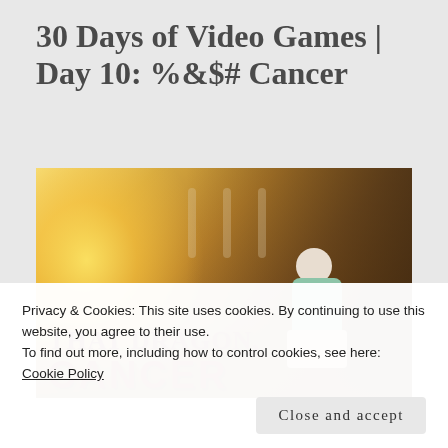30 Days of Video Games | Day 10: %&$# Cancer
[Figure (photo): Screenshot or promotional image from the video game 'That Dragon, Cancer' — shows a stylized 3D-rendered child sitting in a dimly lit room with a warm golden glow on the left. The game title 'THAT DRAGON, CANCER' appears overlaid in dark red text at the bottom of the image.]
Privacy & Cookies: This site uses cookies. By continuing to use this website, you agree to their use.
To find out more, including how to control cookies, see here: Cookie Policy
Close and accept